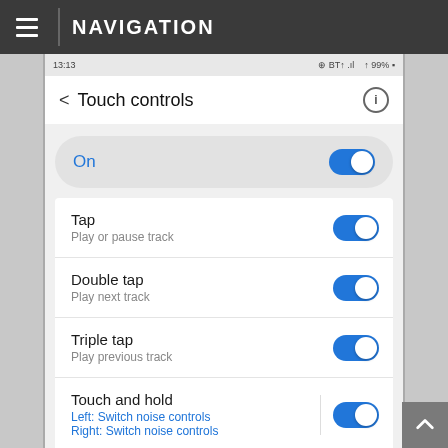NAVIGATION
[Figure (screenshot): Android phone screenshot showing Touch controls settings screen with toggle switches for On, Tap (Play or pause track), Double tap (Play next track), Triple tap (Play previous track), and Touch and hold (Left: Switch noise controls, Right: Switch noise controls). All toggles are enabled (blue).]